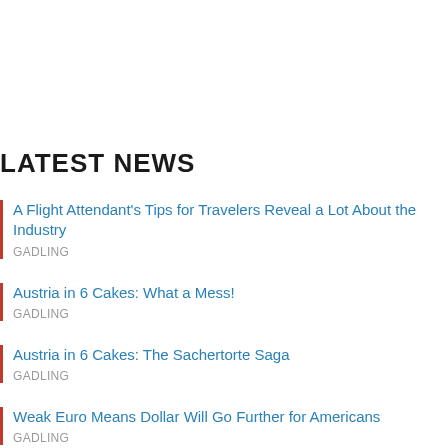LATEST NEWS
A Flight Attendant's Tips for Travelers Reveal a Lot About the Industry
GADLING
Austria in 6 Cakes: What a Mess!
GADLING
Austria in 6 Cakes: The Sachertorte Saga
GADLING
Weak Euro Means Dollar Will Go Further for Americans
GADLING